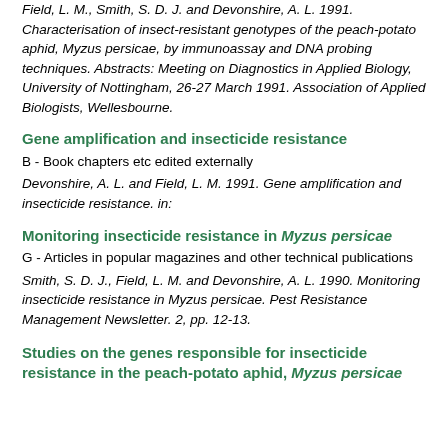Field, L. M., Smith, S. D. J. and Devonshire, A. L. 1991. Characterisation of insect-resistant genotypes of the peach-potato aphid, Myzus persicae, by immunoassay and DNA probing techniques. Abstracts: Meeting on Diagnostics in Applied Biology, University of Nottingham, 26-27 March 1991. Association of Applied Biologists, Wellesbourne.
Gene amplification and insecticide resistance
B - Book chapters etc edited externally
Devonshire, A. L. and Field, L. M. 1991. Gene amplification and insecticide resistance. in:
Monitoring insecticide resistance in Myzus persicae
G - Articles in popular magazines and other technical publications
Smith, S. D. J., Field, L. M. and Devonshire, A. L. 1990. Monitoring insecticide resistance in Myzus persicae. Pest Resistance Management Newsletter. 2, pp. 12-13.
Studies on the genes responsible for insecticide resistance in the peach-potato aphid, Myzus persicae